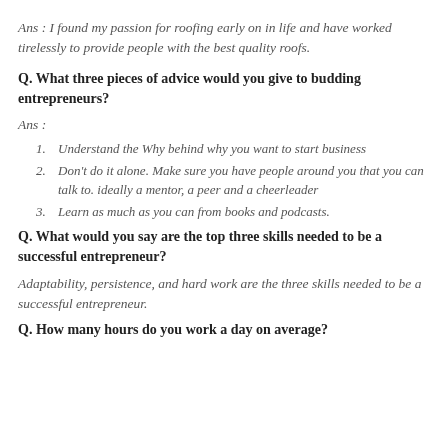Ans : I found my passion for roofing early on in life and have worked tirelessly to provide people with the best quality roofs.
Q. What three pieces of advice would you give to budding entrepreneurs?
Ans :
Understand the Why behind why you want to start business
Don't do it alone. Make sure you have people around you that you can talk to. ideally a mentor, a peer and a cheerleader
Learn as much as you can from books and podcasts.
Q. What would you say are the top three skills needed to be a successful entrepreneur?
Adaptability, persistence, and hard work are the three skills needed to be a successful entrepreneur.
Q. How many hours do you work a day on average?